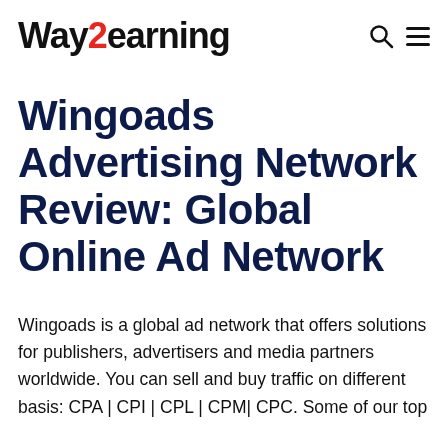Way2earning
Wingoads Advertising Network Review: Global Online Ad Network
Wingoads is a global ad network that offers solutions for publishers, advertisers and media partners worldwide. You can sell and buy traffic on different basis: CPA | CPI | CPL | CPM| CPC. Some of our top